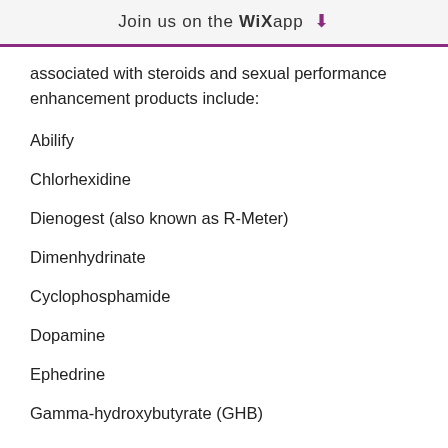Join us on the WiX app ⬇
associated with steroids and sexual performance enhancement products include:
Abilify
Chlorhexidine
Dienogest (also known as R-Meter)
Dimenhydrinate
Cyclophosphamide
Dopamine
Ephedrine
Gamma-hydroxybutyrate (GHB)